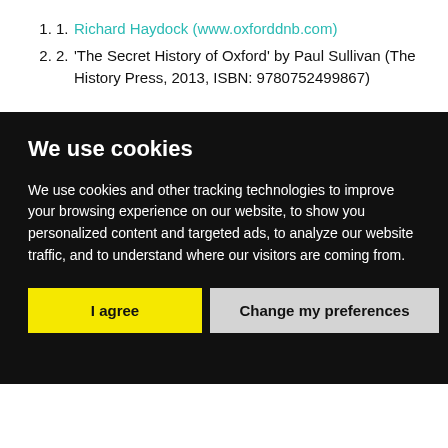Richard Haydock (www.oxforddnb.com)
'The Secret History of Oxford' by Paul Sullivan (The History Press, 2013, ISBN: 9780752499867)
We use cookies
We use cookies and other tracking technologies to improve your browsing experience on our website, to show you personalized content and targeted ads, to analyze our website traffic, and to understand where our visitors are coming from.
I agree | Change my preferences